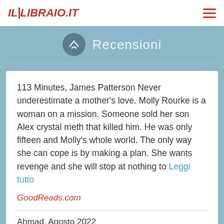IL LIBRAIO.IT
Recensioni
113 Minutes, James Patterson Never underestimate a mother's love. Molly Rourke is a woman on a mission. Someone sold her son Alex crystal meth that killed him. He was only fifteen and Molly's whole world. The only way she can cope is by making a plan. She wants revenge and she will stop at nothing to Leggi tutto
GoodReads.com
Ahmad, Agosto 2022